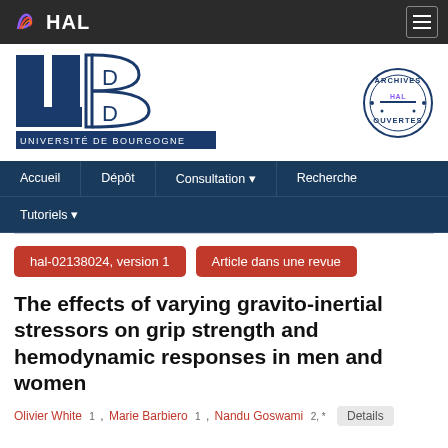HAL
[Figure (logo): Université de Bourgogne logo with UB letters in dark blue]
[Figure (logo): HAL Archives Ouvertes circular stamp logo]
Accueil | Dépôt | Consultation | Recherche | Tutoriels
hal-02138024, version 1
Article dans une revue
The effects of varying gravito-inertial stressors on grip strength and hemodynamic responses in men and women
Olivier White 1 , Marie Barbiero 1 , Nandu Goswami 2, * Details